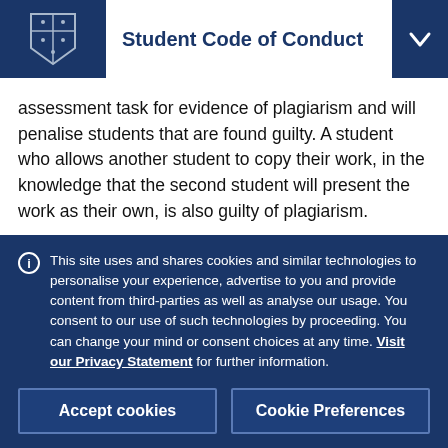Student Code of Conduct
assessment task for evidence of plagiarism and will penalise students that are found guilty. A student who allows another student to copy their work, in the knowledge that the second student will present the work as their own, is also guilty of plagiarism.
This site uses and shares cookies and similar technologies to personalise your experience, advertise to you and provide content from third-parties as well as analyse our usage. You consent to our use of such technologies by proceeding. You can change your mind or consent choices at any time. Visit our Privacy Statement for further information.
Accept cookies
Cookie Preferences